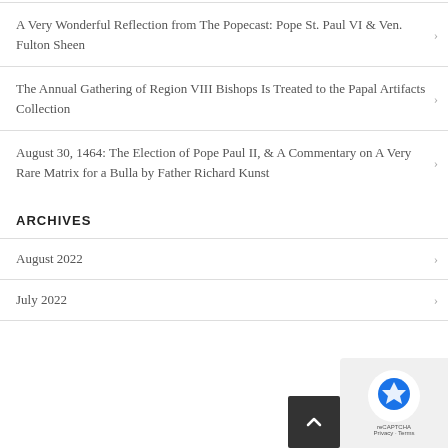A Very Wonderful Reflection from The Popecast: Pope St. Paul VI & Ven. Fulton Sheen
The Annual Gathering of Region VIII Bishops Is Treated to the Papal Artifacts Collection
August 30, 1464: The Election of Pope Paul II, & A Commentary on A Very Rare Matrix for a Bulla by Father Richard Kunst
ARCHIVES
August 2022
July 2022